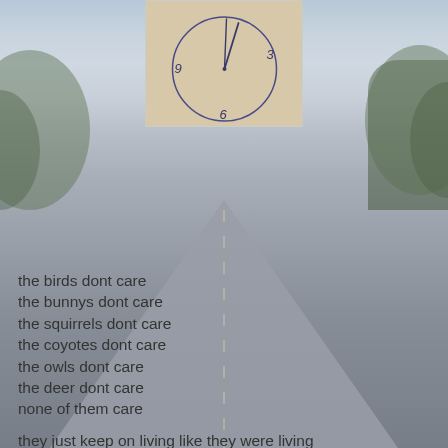[Figure (photo): A hand-drawn clock face on beige/tan paper showing numbers 9, 12 (implied), 3, and 6, with clock hands pointing roughly to 12 and indicating the time]
the birds dont care
the bunnys dont care
the squirrels dont care
the coyotes dont care
the owls dont care
the deer dont care
none of them care

they just keep on living like they were living
following the sun or following the moon

its a man made thing
this time change stuff

i bet the old farmers from years ago would laugh at us
they would still get up with the sun as it rises in the east and